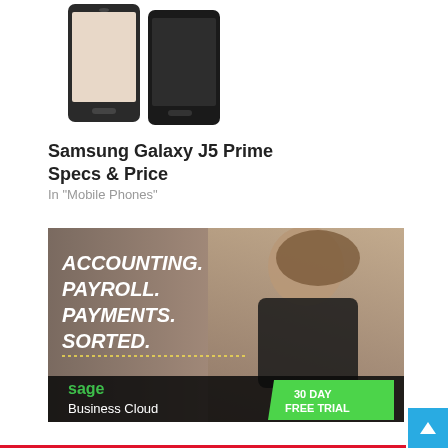[Figure (photo): Two Samsung Galaxy smartphones shown from the front, black color]
Samsung Galaxy J5 Prime Specs & Price
In "Mobile Phones"
[Figure (photo): Sage Business Cloud advertisement showing a woman and text: ACCOUNTING. PAYROLL. PAYMENTS. SORTED. sage Business Cloud 30 DAY FREE TRIAL]